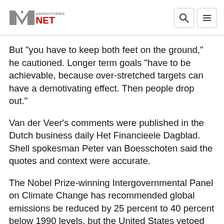Manufacturing.net
But "you have to keep both feet on the ground," he cautioned. Longer term goals "have to be achievable, because over-stretched targets can have a demotivating effect. Then people drop out."
Van der Veer's comments were published in the Dutch business daily Het Financieele Dagblad. Shell spokesman Peter van Boesschoten said the quotes and context were accurate.
The Nobel Prize-winning Intergovernmental Panel on Climate Change has recommended global emissions be reduced by 25 percent to 40 percent below 1990 levels, but the United States vetoed that guideline for inclusion in a climate "road map"